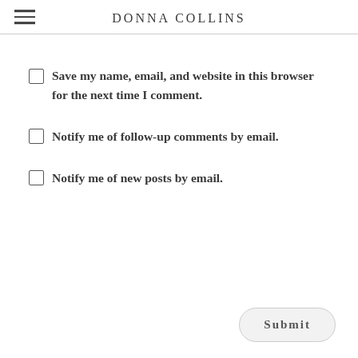DONNA COLLINS
Save my name, email, and website in this browser for the next time I comment.
Notify me of follow-up comments by email.
Notify me of new posts by email.
Submit